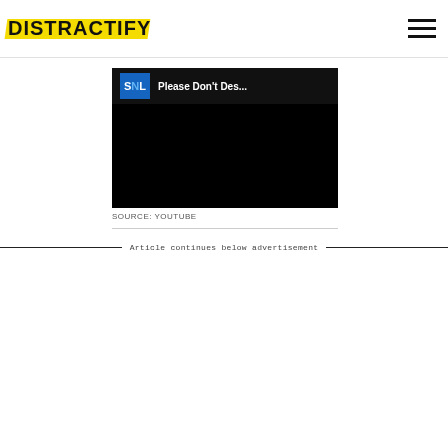DISTRACTIFY
[Figure (screenshot): Embedded YouTube video player showing SNL content. Video thumbnail shows SNL logo badge in blue with white text and video title 'Please Don't Des...' on dark background.]
SOURCE: YOUTUBE
Article continues below advertisement